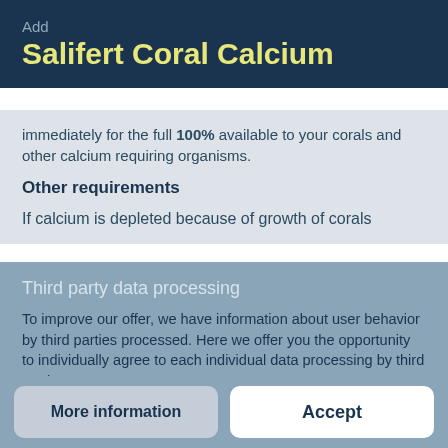Add
Salifert Coral Calcium
immediately for the full 100% available to your corals and other calcium requiring organisms.
Other requirements
If calcium is depleted because of growth of corals
Third party data processing
To improve our offer, we have information about user behavior by third parties processed. Here we offer you the opportunity to individually agree to each individual data processing by third parties.
Privacy
More information
Accept